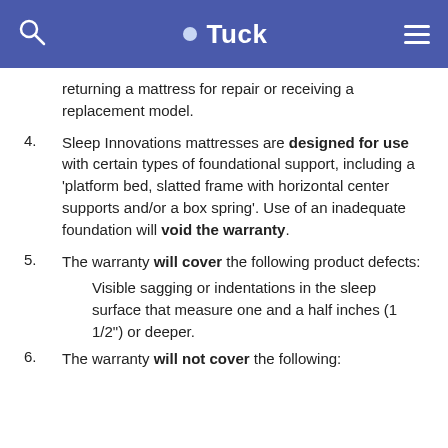Tuck
returning a mattress for repair or receiving a replacement model.
4. Sleep Innovations mattresses are designed for use with certain types of foundational support, including a ‘platform bed, slatted frame with horizontal center supports and/or a box spring’. Use of an inadequate foundation will void the warranty.
5. The warranty will cover the following product defects: Visible sagging or indentations in the sleep surface that measure one and a half inches (1 1/2") or deeper.
6. The warranty will not cover the following: